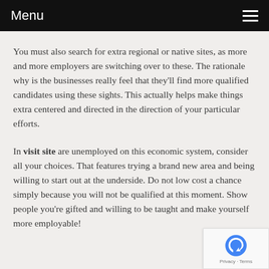Menu
You must also search for extra regional or native sites, as more and more employers are switching over to these. The rationale why is the businesses really feel that they'll find more qualified candidates using these sights. This actually helps make things extra centered and directed in the direction of your particular efforts.
In visit site are unemployed on this economic system, consider all your choices. That features trying a brand new area and being willing to start out at the underside. Do not low cost a chance simply because you will not be qualified at this moment. Show people you're gifted and willing to be taught and make yourself more employable!